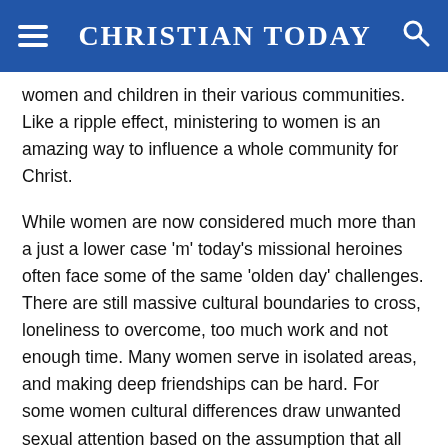CHRISTIAN TODAY
women and children in their various communities. Like a ripple effect, ministering to women is an amazing way to influence a whole community for Christ.
While women are now considered much more than a just a lower case 'm' today's missional heroines often face some of the same 'olden day' challenges. There are still massive cultural boundaries to cross, loneliness to overcome, too much work and not enough time. Many women serve in isolated areas, and making deep friendships can be hard. For some women cultural differences draw unwanted sexual attention based on the assumption that all western women are 'loose'.
The simple need of a good friend is one shared by single